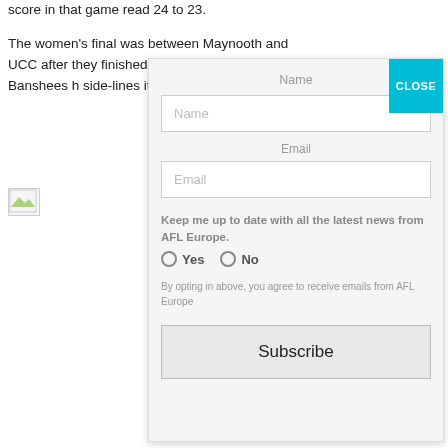score in that game read 24 to 23.
The women's final was between Maynooth and UCC after they finished in ... separated these ... Irish Banshees h... side-lines it was...
[Figure (screenshot): A modal subscription form overlay with Name and Email fields, Yes/No radio buttons for AFL Europe newsletter opt-in, and a Subscribe button. A teal CLOSE button is in the top right corner.]